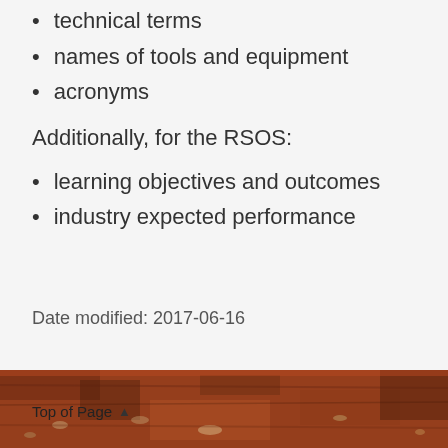technical terms
names of tools and equipment
acronyms
Additionally, for the RSOS:
learning objectives and outcomes
industry expected performance
Date modified: 2017-06-16
Top of Page